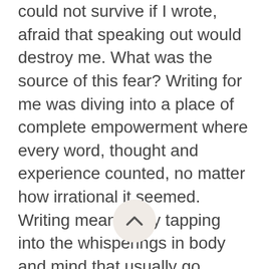could not survive if I wrote, afraid that speaking out would destroy me. What was the source of this fear? Writing for me was diving into a place of complete empowerment where every word, thought and experience counted, no matter how irrational it seemed. Writing meant daily tapping into the whisperings in body and mind that usually go unnoticed as we push ourselves to survive in a world oriented to surface things.  It meant allowing the domain of dreams, symbols, archetypes, and visions to come out of the closet.  It meant standing up and claiming the truth as I saw it in a world that largely rejects and denigrates that which is not concrete and seen and in a family where an invisible mental illness